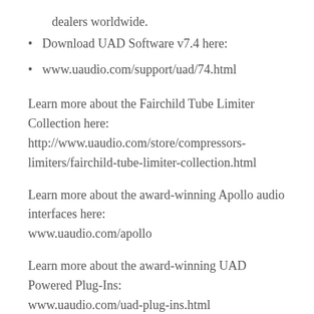dealers worldwide.
Download UAD Software v7.4 here:
www.uaudio.com/support/uad/74.html
Learn more about the Fairchild Tube Limiter Collection here:
http://www.uaudio.com/store/compressors-limiters/fairchild-tube-limiter-collection.html
Learn more about the award-winning Apollo audio interfaces here:
www.uaudio.com/apollo
Learn more about the award-winning UAD Powered Plug-Ins:
www.uaudio.com/uad-plug-ins.html